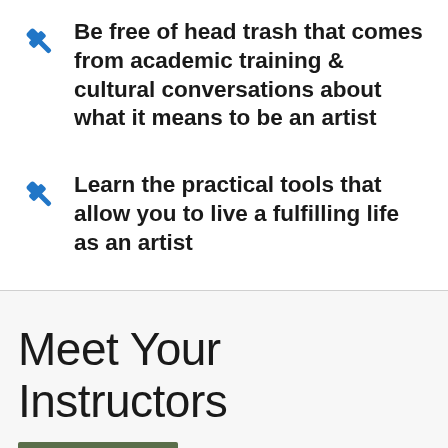Be free of head trash that comes from academic training & cultural conversations about what it means to be an artist
Learn the practical tools that allow you to live a fulfilling life as an artist
Meet Your Instructors
[Figure (photo): Partial photo strip at bottom of page showing instructor photos]